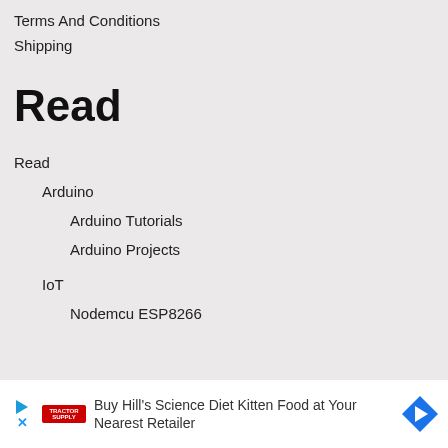Terms And Conditions
Shipping
Read
Read
Arduino
Arduino Tutorials
Arduino Projects
IoT
Nodemcu ESP8266
[Figure (other): Advertisement banner for Buy Hill's Science Diet Kitten Food at Your Nearest Retailer, featuring Tractor Supply logo, play button icon, close button, and a blue diamond-shaped arrow icon.]